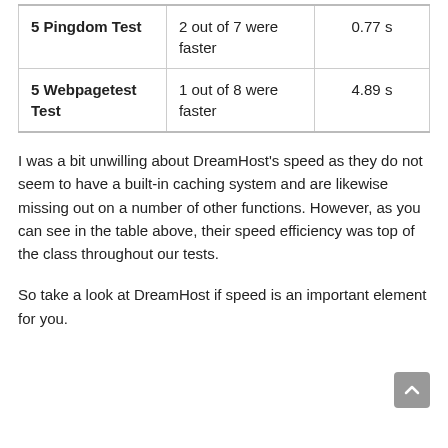|  |  |  |
| --- | --- | --- |
| 5 Pingdom Test | 2 out of 7 were faster | 0.77 s |
| 5 Webpagetest Test | 1 out of 8 were faster | 4.89 s |
I was a bit unwilling about DreamHost's speed as they do not seem to have a built-in caching system and are likewise missing out on a number of other functions. However, as you can see in the table above, their speed efficiency was top of the class throughout our tests.
So take a look at DreamHost if speed is an important element for you.